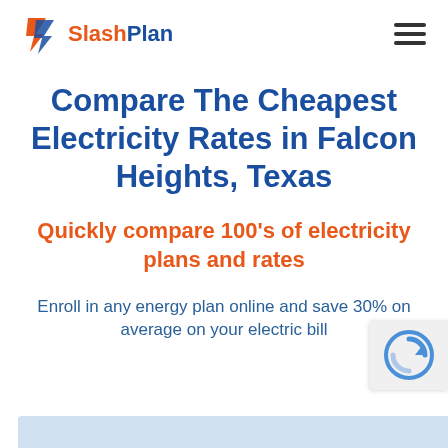[Figure (logo): SlashPlan logo with orange and blue lightning bolt icon and text 'SlashPlan']
Compare The Cheapest Electricity Rates in Falcon Heights, Texas
Quickly compare 100's of electricity plans and rates
Enroll in any energy plan online and save 30% on average on your electric bill